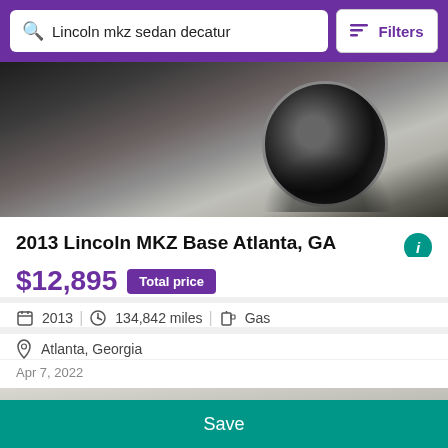Lincoln mkz sedan decatur | Filters
[Figure (photo): Close-up photo of a silver Lincoln MKZ showing the front wheel and side panel]
2013 Lincoln MKZ Base Atlanta, GA
$12,895 Total price
2013 | 134,842 miles | Gas
Atlanta, Georgia
Apr 7, 2022
[Figure (photo): Exterior photo of a silver Lincoln sedan in a parking lot with trees in background]
Save